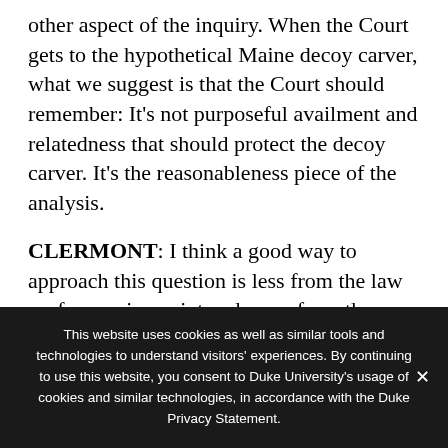other aspect of the inquiry. When the Court gets to the hypothetical Maine decoy carver, what we suggest is that the Court should remember: It's not purposeful availment and relatedness that should protect the decoy carver. It's the reasonableness piece of the analysis.
CLERMONT: I think a good way to approach this question is less from the law professor viewpoint and more from the district judge viewpoint. I think
This website uses cookies as well as similar tools and technologies to understand visitors' experiences. By continuing to use this website, you consent to Duke University's usage of cookies and similar technologies, in accordance with the Duke Privacy Statement.